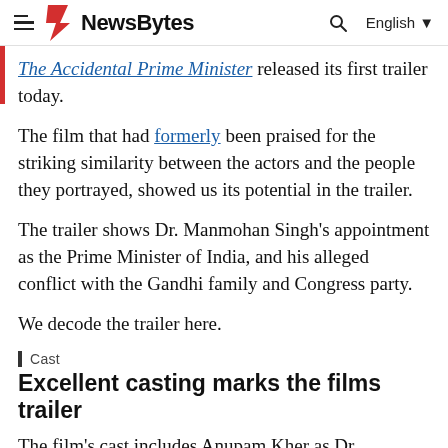NewsBytes  English
The Accidental Prime Minister released its first trailer today.
The film that had formerly been praised for the striking similarity between the actors and the people they portrayed, showed us its potential in the trailer.
The trailer shows Dr. Manmohan Singh's appointment as the Prime Minister of India, and his alleged conflict with the Gandhi family and Congress party.
We decode the trailer here.
Cast
Excellent casting marks the films trailer
The film's cast includes Anupam Kher as Dr. Manmohan Singh and Akshaye Khanna as Sanjaya Baru, whose 2014